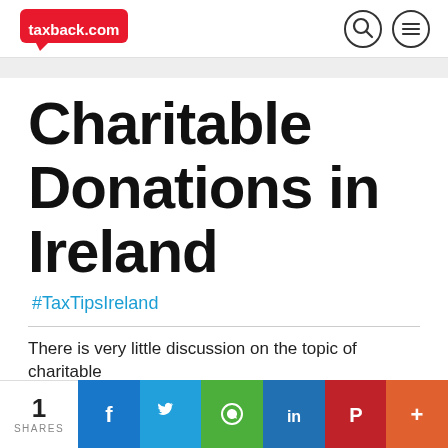taxback.com
Charitable Donations in Ireland
#TaxTipsIreland
There is very little discussion on the topic of charitable